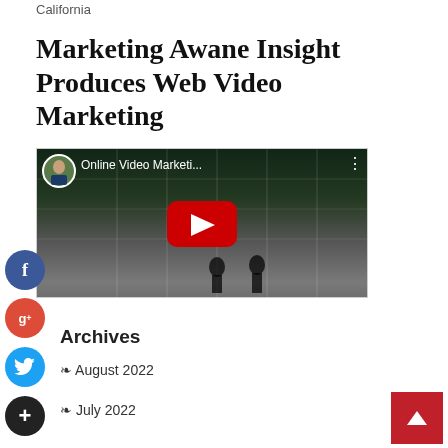California
Marketing Awane Insight Produces Web Video Marketing
[Figure (screenshot): Embedded YouTube video player showing 'Online Video Marketi...' with a play button, avatar thumbnail of a man in suit, and menu dots. Background shows people walking in front of a glass building.]
Archives
August 2022
July 2022